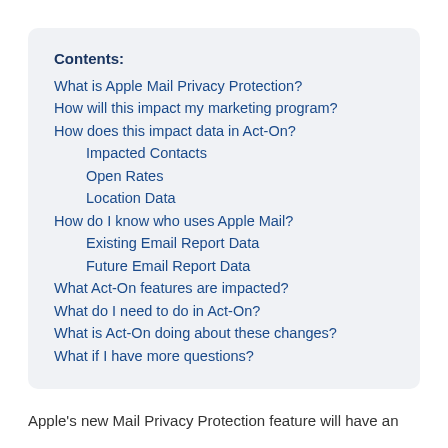Contents:
What is Apple Mail Privacy Protection?
How will this impact my marketing program?
How does this impact data in Act-On?
Impacted Contacts
Open Rates
Location Data
How do I know who uses Apple Mail?
Existing Email Report Data
Future Email Report Data
What Act-On features are impacted?
What do I need to do in Act-On?
What is Act-On doing about these changes?
What if I have more questions?
Apple's new Mail Privacy Protection feature will have an